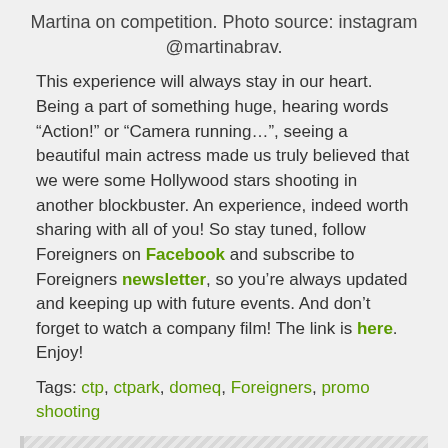Martina on competition. Photo source: instagram @martinabrav.
This experience will always stay in our heart. Being a part of something huge, hearing words “Action!” or “Camera running…”, seeing a beautiful main actress made us truly believed that we were some Hollywood stars shooting in another blockbuster. An experience, indeed worth sharing with all of you! So stay tuned, follow Foreigners on Facebook and subscribe to Foreigners newsletter, so you’re always updated and keeping up with future events. And don’t forget to watch a company film! The link is here. Enjoy!
Tags: ctp, ctpark, domeq, Foreigners, promo shooting
Karyna Babkova
Hello, dear readers! I am a Ukrainian student,